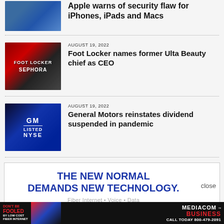[Figure (photo): Apple store building exterior photo]
Apple warns of security flaw for iPhones, iPads and Macs
[Figure (photo): Foot Locker and Sephora store front with red signage]
AUGUST 19, 2022
Foot Locker names former Ulta Beauty chief as CEO
[Figure (photo): GM Listed NYSE sign on dark blue background]
AUGUST 19, 2022
General Motors reinstates dividend suspended in pandemic
[Figure (advertisement): THE NEW NORMAL DEMANDS NEW TECHNOLOGY. Fiber Internet • Voice • Data advertisement with close button]
[Figure (advertisement): Mediacom Business banner: DON'T BE FOOLED BY LOW COST FIBER INTERNET. CALL TODAY 800-479-2091]